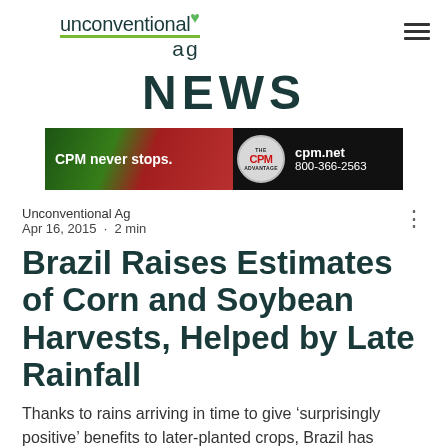unconventional ag
NEWS
[Figure (infographic): CPM advertisement banner: 'CPM never stops.' with CPM Advantage logo and cpm.net 800-366-2563]
Unconventional Ag
Apr 16, 2015  ·  2 min
Brazil Raises Estimates of Corn and Soybean Harvests, Helped by Late Rainfall
Thanks to rains arriving in time to give 'surprisingly positive' benefits to later-planted crops, Brazil has increased its